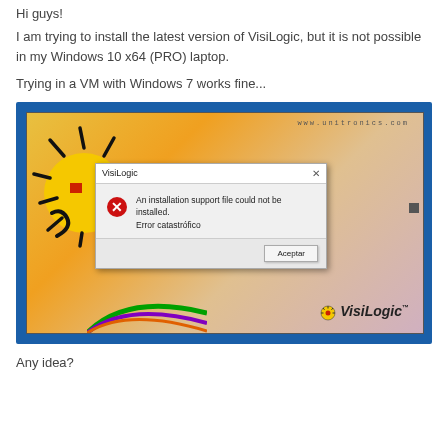Hi guys!
I am trying to install the latest version of VisiLogic, but it is not possible in my Windows 10 x64 (PRO) laptop.
Trying in a VM with Windows 7 works fine...
[Figure (screenshot): Screenshot of VisiLogic installer showing an error dialog with title 'VisiLogic', message 'An installation support file could not be installed. Error catastrófico', and an 'Aceptar' button. The VisiLogic splash screen with the sun logo and www.unitronics.com URL is visible in the background.]
Any idea?